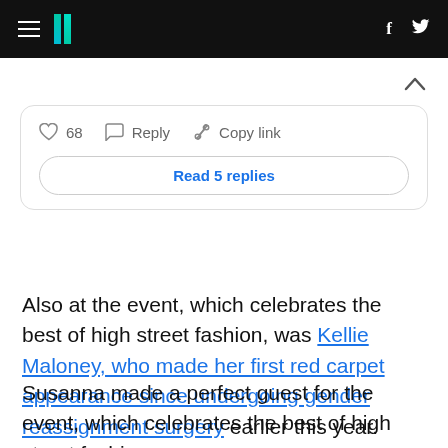HuffPost navigation bar with hamburger menu, logo, Facebook and Twitter icons
[Figure (other): Chevron up arrow indicating collapsible section]
♡ 68   Reply   Copy link
Read 5 replies
Also at the event, which celebrates the best of high street fashion, was Kellie Maloney, who made her first red carpet appearance since undergoing gender reassignment surgery earlier this year.
Susanna made a perfect guest for the event, which celebrates the best of high street fashion,